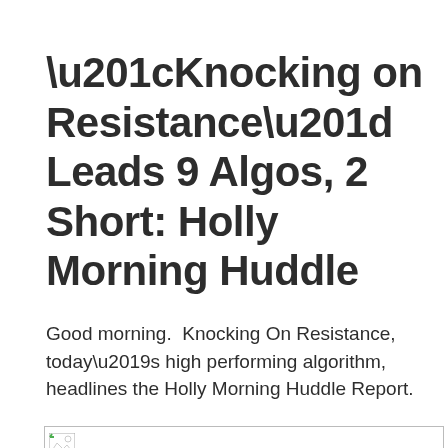“Knocking on Resistance” Leads 9 Algos, 2 Short: Holly Morning Huddle
Good morning.  Knocking On Resistance, today’s high performing algorithm, headlines the Holly Morning Huddle Report.
[Figure (photo): Broken/missing image placeholder with small broken-image icon at top-left]